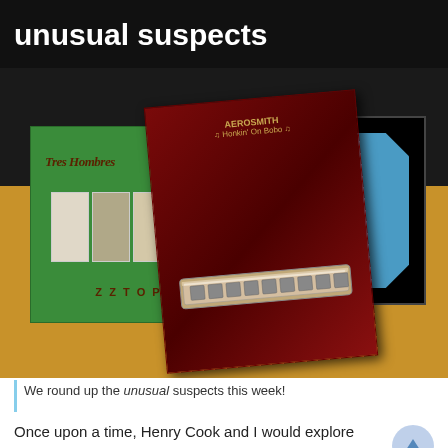unusual suspects
[Figure (photo): Three overlapping album covers on dark/gold background: ZZ Top 'Tres Hombres' (green cover), Aerosmith 'Honkin On Bobo' (dark red cover with harmonica), and Chicago (blue badge cover). Displayed as a promotional collage image.]
We round up the unusual suspects this week!
Once upon a time, Henry Cook and I would explore artists and groups that stepped outside of their comfort zone and release a blues album. Or two.